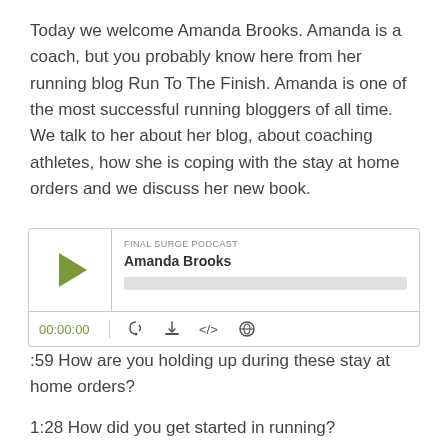Today we welcome Amanda Brooks. Amanda is a coach, but you probably know here from her running blog Run To The Finish. Amanda is one of the most successful running bloggers of all time. We talk to her about her blog, about coaching athletes, how she is coping with the stay at home orders and we discuss her new book.
[Figure (other): Podcast player widget labeled 'FINAL SURGE PODCAST' with title 'Amanda Brooks', a green play button, progress bar, time display showing 00:00:00, and control icons for RSS, download, embed, and share.]
:59 How are you holding up during these stay at home orders?
1:28 How did you get started in running?